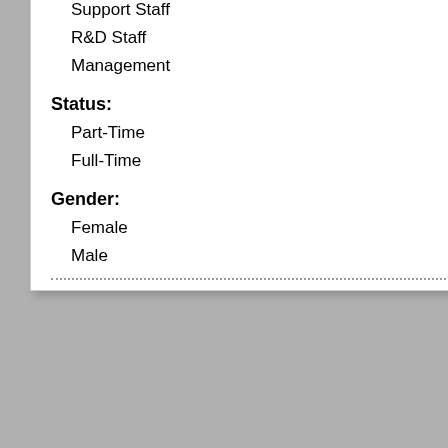| Category | N | Score | Bar |
| --- | --- | --- | --- |
| Support Staff | 46 | 3.22 |  |
| R&D Staff | 39 | 3.08 |  |
| Management | 11 | 3.18 |  |
| Part-Time | 66 | 3.06 |  |
| Full-Time | 49 | 3.06 |  |
| Female | 43 | 3.14 |  |
| Male | 73 | 3.01 |  |
Importance Scores
employees were asked to select which items they think should be emphasized most over the next two years in order to make